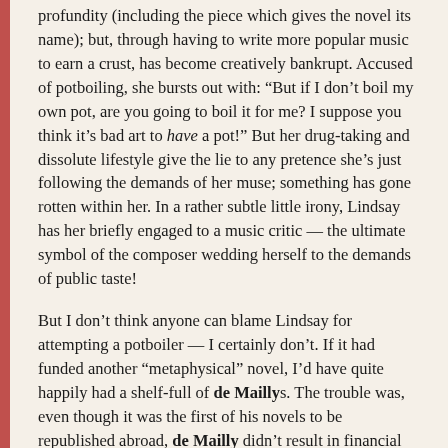profundity (including the piece which gives the novel its name); but, through having to write more popular music to earn a crust, has become creatively bankrupt. Accused of potboiling, she bursts out with: “But if I don’t boil my own pot, are you going to boil it for me? I suppose you think it’s bad art to have a pot!” But her drug-taking and dissolute lifestyle give the lie to any pretence she’s just following the demands of her muse; something has gone rotten within her. In a rather subtle little irony, Lindsay has her briefly engaged to a music critic — the ultimate symbol of the composer wedding herself to the demands of public taste!
But I don’t think anyone can blame Lindsay for attempting a potboiler — I certainly don’t. If it had funded another “metaphysical” novel, I’d have quite happily had a shelf-full of de Maillyss. The trouble was, even though it was the first of his novels to be republished abroad, de Mailly didn’t result in financial success.
The key to the sort of novel Lindsay was aiming for in de